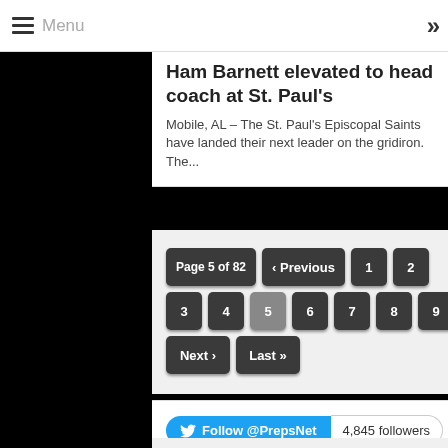Menu
Ham Barnett elevated to head coach at St. Paul's
Mobile, AL – The St. Paul's Episcopal Saints have landed their next leader on the gridiron.  The...
Page 5 of 82 | ‹ Previous | 1 | 2 | 3 | 4 | 5 | 6 | 7 | 8 | 9 | Next › | Last »
Follow @PrepsNet   4,845 followers